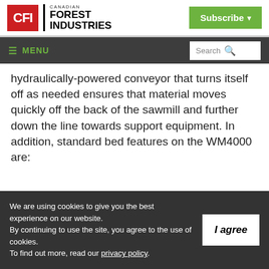[Figure (logo): Canadian Forest Industries (CFI) logo with red box containing white CFI text, next to 'CANADIAN FOREST INDUSTRIES' text in black]
[Figure (other): Green 'Subscribe' button with dropdown arrow in top right of header]
≡ MENU | Search
hydraulically-powered conveyor that turns itself off as needed ensures that material moves quickly off the back of the sawmill and further down the line towards support equipment. In addition, standard bed features on the WM4000 are:
We are using cookies to give you the best experience on our website. By continuing to use the site, you agree to the use of cookies. To find out more, read our privacy policy.